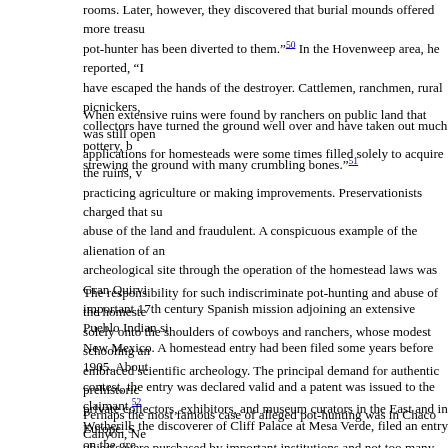rooms. Later, however, they discovered that burial mounds offered more treasu pot-hunter has been diverted to them."50 In the Hovenweep area, he reported, "h have escaped the hands of the destroyer. Cattlemen, ranchmen, rural picnickers, collectors have turned the ground well over and have taken out much pottery, b strewing the ground with many crumbling bones."51
When extensive ruins were found by ranchers on public land that was still open applications for homesteads were some times filled solely to acquire the ruins, v practicing agriculture or making improvements. Preservationists charged that su abuse of the land and fraudulent. A conspicuous example of the alienation of an archeological site through the operation of the homestead laws was Gran Quirvi important 17th century Spanish mission adjoining an extensive Pueblo Indian si New Mexico. A homestead entry had been filed some years before 1905. About contest, the entry was declared valid and a patent was issued to the claimant.52 Wetherill, the discoverer of Cliff Palace at Mesa Verde, filed an entry on the gre Bonito ruin in Chaco Canyon, near Farmington, New Mexico. His unperfected e became a center of controversy until in 1904 the land was finally withdrawn by Office from sale or entry, and excavations then in progress on the unperfected c
The responsibility for such indiscriminate pot-hunting and abuse of the homeste solely onto the shoulders of cowboys and ranchers, whose modest schooling an embraced scientific archeology. The principal demand for authentic prehistoric private collectors, exhibitors, and museum curators in the East and in Europe. S objects were purchased by important institutions and not too many questions as financed and widely publicized expeditions did not escape criticism.
Perhaps the most famous case of alleged pot-hunting was in Chaco Canyon, Ne controversy among preservationists from 1900 until 1907 when it was finally r